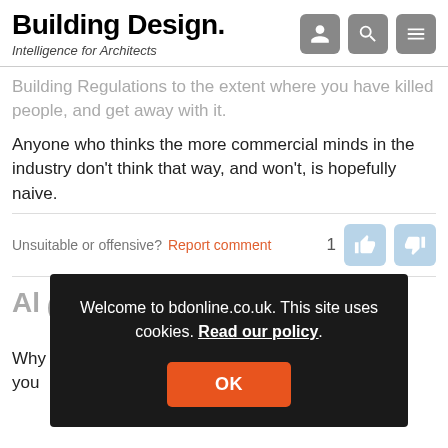Building Design. Intelligence for Architects
Building Regulations to the extent where you have killed people, and get away with it.
Anyone who thinks the more commercial minds in the industry don't think that way, and won't, is hopefully naive.
Unsuitable or offensive? Report comment
Welcome to bdonline.co.uk. This site uses cookies. Read our policy.
OK
Why would you request immunity from prosecution if you